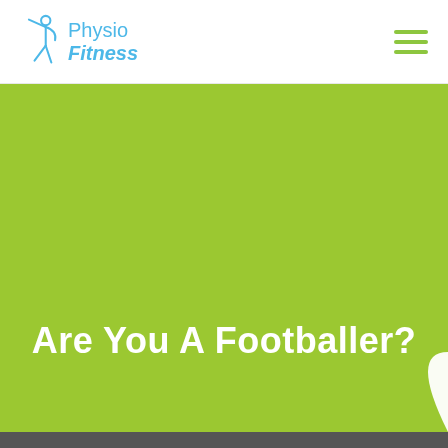Physio Fitness
Are You A Footballer?
[Figure (other): White curved shape partially visible at bottom-right of green hero section]